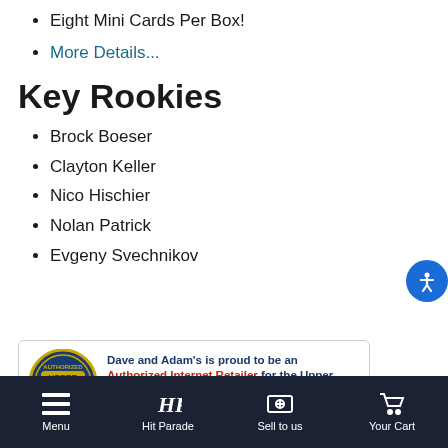Eight Mini Cards Per Box!
More Details...
Key Rookies
Brock Boeser
Clayton Keller
Nico Hischier
Nolan Patrick
Evgeny Svechnikov
[Figure (logo): Upper Deck Authorized Internet Retailer banner ad. Dave and Adam's is proud to be an Authorized Internet Retailer for the Upper Deck Company. More Details link.]
Item Description
Menu | Hit Parade | Sell to us | Your Cart